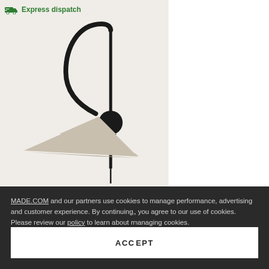[Figure (photo): Product photo of a modern black arc wall lamp with a triangular beige/cream lampshade, mounted on wall with a circular wall plate and a hanging black cord. Background is off-white/beige.]
Express dispatch
MADE.COM and our partners use cookies to manage performance, advertising and customer experience. By continuing, you agree to our use of cookies. Please review our policy to learn about managing cookies.
ACCEPT